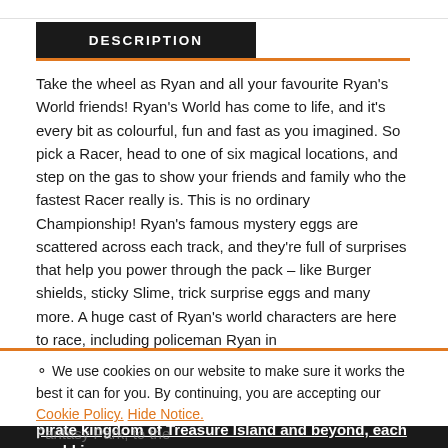DESCRIPTION
Take the wheel as Ryan and all your favourite Ryan's World friends! Ryan's World has come to life, and it's every bit as colourful, fun and fast as you imagined. So pick a Racer, head to one of six magical locations, and step on the gas to show your friends and family who the fastest Racer really is. This is no ordinary Championship! Ryan's famous mystery eggs are scattered across each track, and they're full of surprises that help you power through the pack – like Burger shields, sticky Slime, trick surprise eggs and many more. A huge cast of Ryan's world characters are here to race, including policeman Ryan in his patrol car, Red Titan, Gus the gummy gator, pirate combo panda, and many more champions are lining up and jostling for the top. From the Combo Race in Ryan's Fantasy Park, to the pirate kingdom of Treasure Island and beyond, each world is
We use cookies on our website to make sure it works the best it can for you. By continuing, you are accepting our Cookie Policy. Hide Notice.